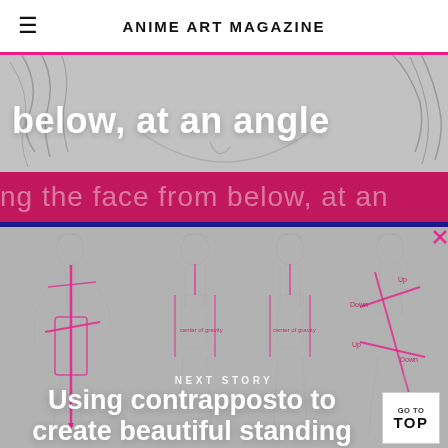ANIME ART MAGAZINE
below, at an angle
[Figure (illustration): Anime face sketch drawing viewed from below at an angle, pencil sketch style on gray background]
ng the face from below, at an
[Figure (illustration): Multiple anime female figure sketches showing contrapposto standing poses with pink measurement lines and annotations]
NEXT STORY
Using contrapposto to create beautiful standing poses for women